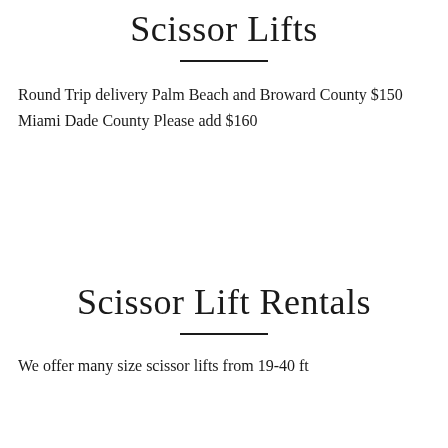Scissor Lifts
Round Trip delivery Palm Beach and Broward County $150 Miami Dade County Please add $160
Scissor Lift Rentals
We offer many size scissor lifts from 19-40 ft